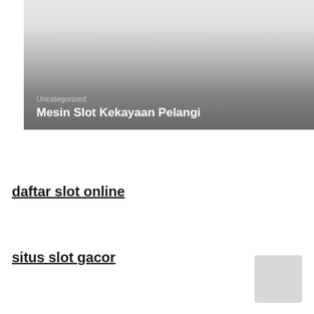[Figure (photo): Hero banner image with gradient from light gray at top to dark gray at bottom, containing category label and title overlay]
Uncategorized
Mesin Slot Kekayaan Pelangi
daftar slot online
situs slot gacor
[Figure (photo): Small rounded thumbnail image in bottom right corner, light gray]